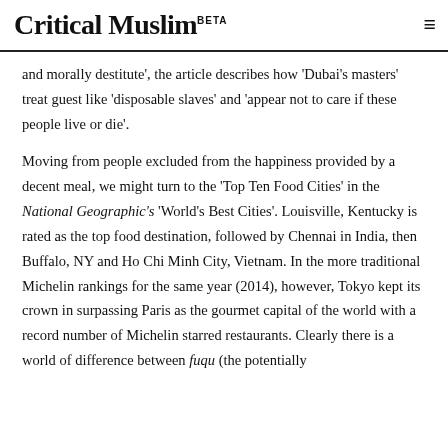Critical Muslim BETA
and morally destitute', the article describes how 'Dubai's masters' treat guest like 'disposable slaves' and 'appear not to care if these people live or die'.
Moving from people excluded from the happiness provided by a decent meal, we might turn to the 'Top Ten Food Cities' in the National Geographic's 'World's Best Cities'. Louisville, Kentucky is rated as the top food destination, followed by Chennai in India, then Buffalo, NY and Ho Chi Minh City, Vietnam. In the more traditional Michelin rankings for the same year (2014), however, Tokyo kept its crown in surpassing Paris as the gourmet capital of the world with a record number of Michelin starred restaurants. Clearly there is a world of difference between fuqu (the potentially